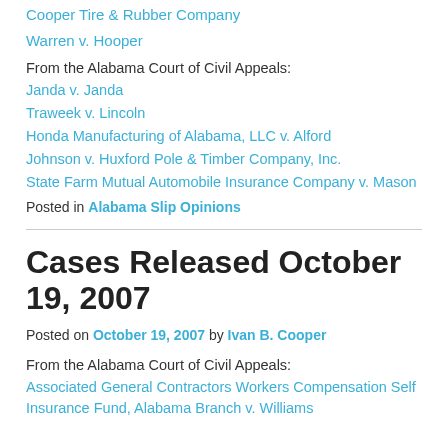Cooper Tire & Rubber Company
Warren v. Hooper
From the Alabama Court of Civil Appeals:
Janda v. Janda
Traweek v. Lincoln
Honda Manufacturing of Alabama, LLC v. Alford
Johnson v. Huxford Pole & Timber Company, Inc.
State Farm Mutual Automobile Insurance Company v. Mason
Posted in Alabama Slip Opinions
Cases Released October 19, 2007
Posted on October 19, 2007 by Ivan B. Cooper
From the Alabama Court of Civil Appeals:
Associated General Contractors Workers Compensation Self Insurance Fund, Alabama Branch v. Williams